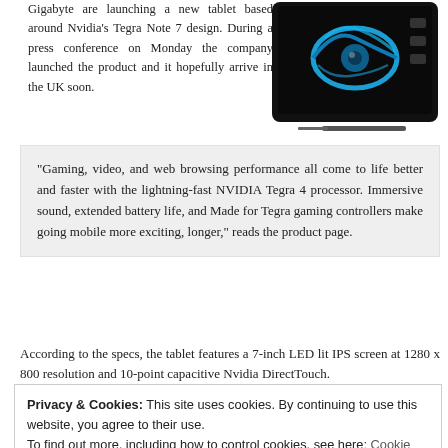Gigabyte are launching a new tablet based around Nvidia's Tegra Note 7 design. During a press conference on Monday the company launched the product and it hopefully arrive in the UK soon.
[Figure (photo): A dark tablet device displaying an NVIDIA eye logo with blue swirling design on the screen, shown at an angle with a stylus.]
“Gaming, video, and web browsing performance all come to life better and faster with the lightning-fast NVIDIA Tegra 4 processor. Immersive sound, extended battery life, and Made for Tegra gaming controllers make going mobile more exciting, longer,” reads the product page.
According to the specs, the tablet features a 7-inch LED lit IPS screen at 1280 x 800 resolution and 10-point capacitive Nvidia DirectTouch.
Privacy & Cookies: This site uses cookies. By continuing to use this website, you agree to their use.
To find out more, including how to control cookies, see here: Cookie Policy
HDR camera on the back and a VGA camera on the front, Wireless N